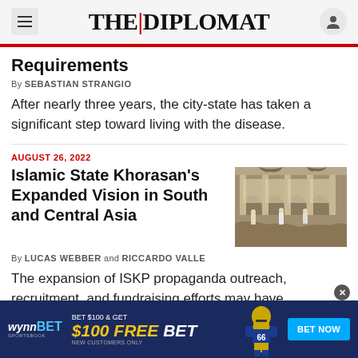THE|DIPLOMAT
Requirements
By SEBASTIAN STRANGIO
After nearly three years, the city-state has taken a significant step toward living with the disease.
AUGUST 26, 2022
Islamic State Khorasan's Expanded Vision in South and Central Asia
[Figure (photo): Interior of a damaged building, possibly a mosque, with people visible among debris and damaged arched windows]
By LUCAS WEBBER and RICCARDO VALLE
The expansion of ISKP propaganda outreach, recruitment, and fundraising efforts may have significant security implications for countries in the
[Figure (infographic): WynnBET Sportsbook advertisement: BET $100 & GET $100 FREE BET - NEW CUSTOMERS ONLY - BET NOW]